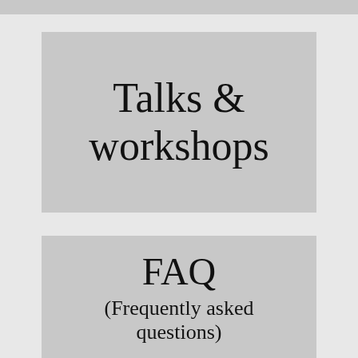[Figure (illustration): Gray banner strip at the very top of the page]
Talks & workshops
FAQ
(Frequently asked questions)